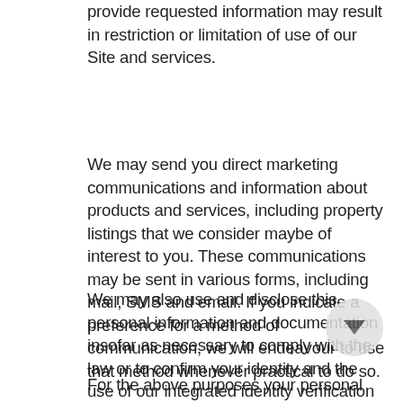provide requested information may result in restriction or limitation of use of our Site and services.
We may send you direct marketing communications and information about products and services, including property listings that we consider maybe of interest to you. These communications may be sent in various forms, including mail, SMS and email. If you indicate a preference for a method of communication, we will endeavour to use that method whenever practical to do so.
We may also use and disclose this personal information and documentation insofar as necessary to comply with the law or to confirm your identity and the use of our integrated identity verification service.
For the above purposes your personal